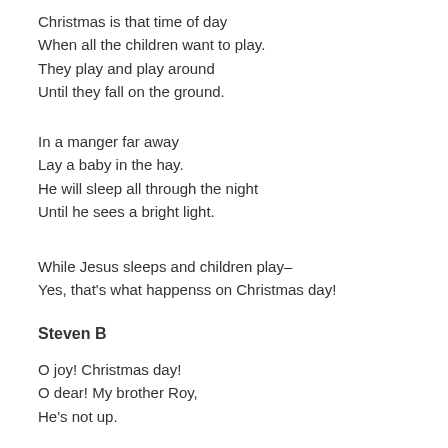Christmas is that time of day
When all the children want to play.
They play and play around
Until they fall on the ground.
In a manger far away
Lay a baby in the hay.
He will sleep all through the night
Until he sees a bright light.
While Jesus sleeps and children play–
Yes, that's what happenss on Christmas day!
Steven B
O joy! Christmas day!
O dear! My brother Roy,
He's not up.